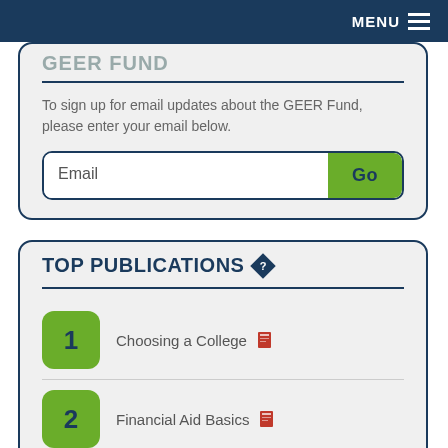MENU
To sign up for email updates about the GEER Fund, please enter your email below.
TOP PUBLICATIONS
1 Choosing a College
2 Financial Aid Basics